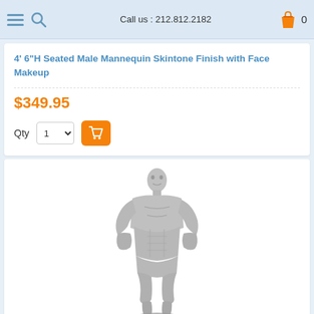Call us : 212.812.2182
4' 6"H Seated Male Mannequin Skintone Finish with Face Makeup
$349.95
Qty 1
[Figure (photo): Silver metallic male mannequin standing with hands on hips, muscular build, on a flat base]
SFB1-ST